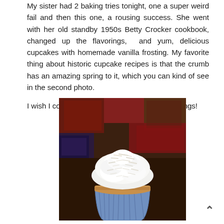My sister had 2 baking tries tonight, one a super weird fail and then this one, a rousing success. She went with her old standby 1950s Betty Crocker cookbook, changed up the flavorings, and yum, delicious cupcakes with homemade vanilla frosting. My favorite thing about historic cupcake recipes is that the crumb has an amazing spring to it, which you can kind of see in the second photo.

I wish I could invite you in for a cupcake. Blessings!
[Figure (photo): A cupcake with white frosting and shredded coconut on top, in a blue cupcake liner, sitting on a colorful patchwork tablecloth.]